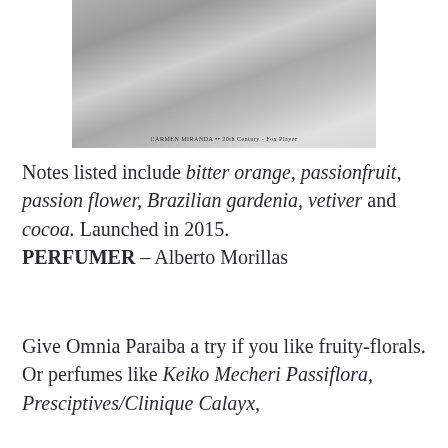[Figure (photo): Black and white photograph of Carmen Miranda, credited to 20th Century Fox Player]
CARMEN MIRANDA •• 20th Century - Fox Player
Notes listed include bitter orange, passionfruit, passion flower, Brazilian gardenia, vetiver and cocoa. Launched in 2015. PERFUMER – Alberto Morillas
Give Omnia Paraiba a try if you like fruity-florals. Or perfumes like Keiko Mecheri Passiflora, Presciptives/Clinique Calayx,